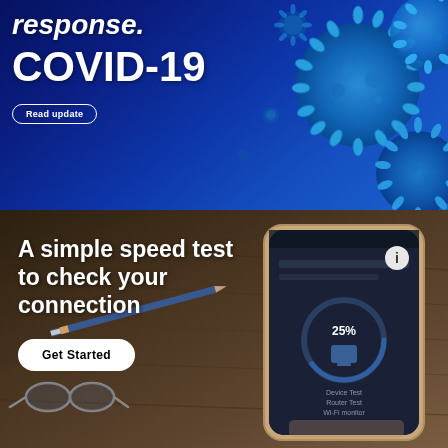[Figure (screenshot): Top banner with dark blue background showing COVID-19 coronavirus particles (blue 3D rendered virus cells) on the right side, with white bold italic text 'response.' and large white bold text 'COVID-19' on the left, and a small 'Read update' button below.]
[Figure (screenshot): Bottom banner with dark brown wooden desk background showing a hand holding a smartphone displaying a speed test app, with a pencil and glasses on the desk. White bold text reads 'A simple speed test to check your connection' and a white 'Get Started' button.]